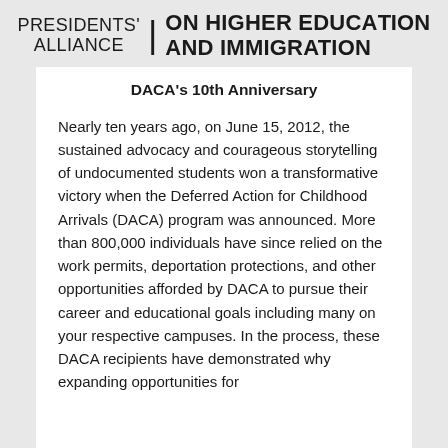PRESIDENTS' ALLIANCE | ON HIGHER EDUCATION AND IMMIGRATION
DACA's 10th Anniversary
Nearly ten years ago, on June 15, 2012, the sustained advocacy and courageous storytelling of undocumented students won a transformative victory when the Deferred Action for Childhood Arrivals (DACA) program was announced. More than 800,000 individuals have since relied on the work permits, deportation protections, and other opportunities afforded by DACA to pursue their career and educational goals including many on your respective campuses. In the process, these DACA recipients have demonstrated why expanding opportunities for